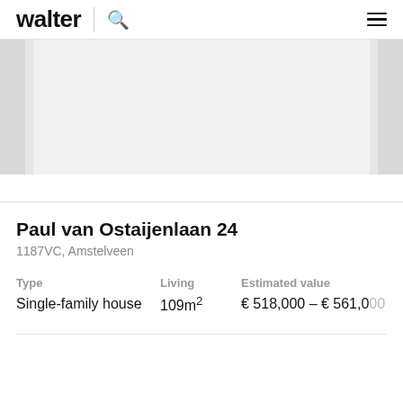walter
[Figure (photo): Property photo placeholder showing a light grey image area with darker side panels]
Paul van Ostaijenlaan 24
1187VC, Amstelveen
| Type | Living | Estimated value |
| --- | --- | --- |
| Single-family house | 109m² | € 518,000 – € 561,000 |